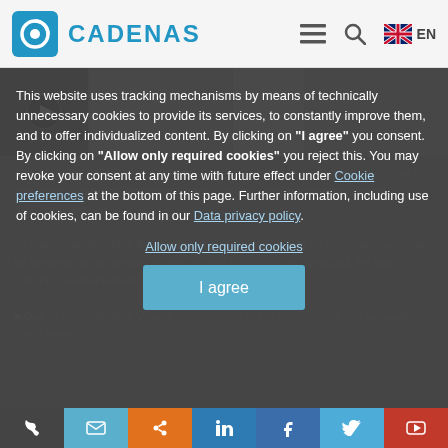[Figure (screenshot): CADENAS website header with logo, hamburger menu, search icon, and EN language selector with UK flag]
[Figure (screenshot): Website background showing 3D model images strip and blurred body text about the 3D Parts Model platform]
This website uses tracking mechanisms by means of technically unnecessary cookies to provide its services, to constantly improve them, and to offer individualized content. By clicking on "I agree" you consent. By clicking on "Allow only required cookies" you reject this. You may revoke your consent at any time with future effect under Cookie preferences at the bottom of this page. Further information, including use of cookies, can be found in our Data privacy policy.
Allow only required cookies
I agree
[Figure (screenshot): Footer social media icon bar: phone, email, RSS, LinkedIn, Facebook, Twitter, YouTube]